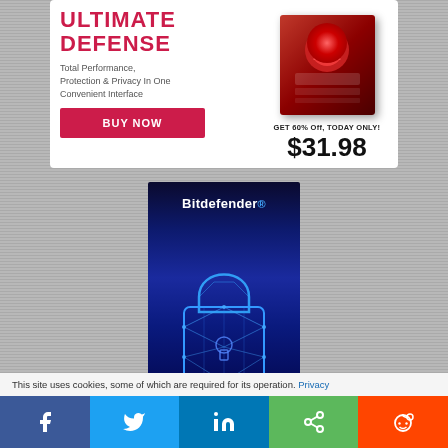[Figure (advertisement): MacKeeper Ultimate Defense software advertisement with red product box, BUY NOW button, and price $31.98 with 60% off promotion]
[Figure (advertisement): Bitdefender advertisement showing blue glowing padlock made of geometric lines on dark blue background]
This site uses cookies, some of which are required for its operation. Privacy
[Figure (infographic): Social share bar with Facebook, Twitter, LinkedIn, Share, and Reddit buttons]